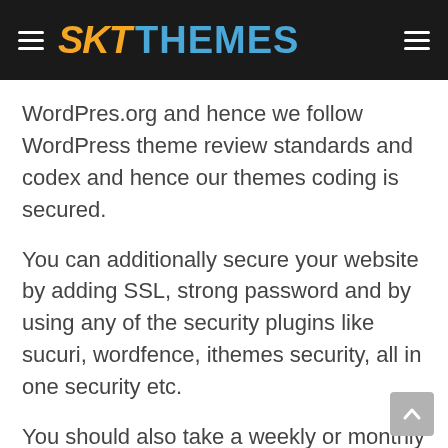SKT THEMES
WordPres.org and hence we follow WordPress theme review standards and codex and hence our themes coding is secured.
You can additionally secure your website by adding SSL, strong password and by using any of the security plugins like sucuri, wordfence, ithemes security, all in one security etc.
You should also take a weekly or monthly backup based on your site changes by using backup plugins like vaultpress, blogvault, backupbuddy and others